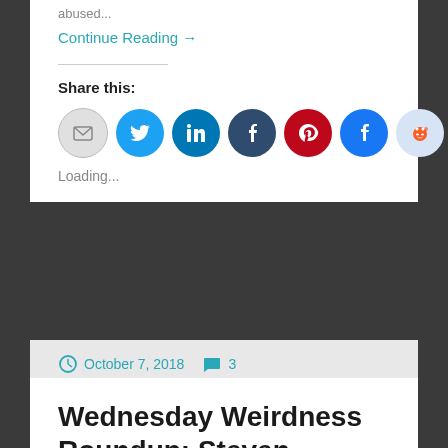abused...
Continue Reading →
Share this:
[Figure (infographic): Social share buttons: email, Twitter, LinkedIn, Tumblr, Pinterest, Facebook, Reddit]
Loading...
October 7, 2018   3
Wednesday Weirdness Roundup: Steven Greer's alien + lots of other fake dead aliens